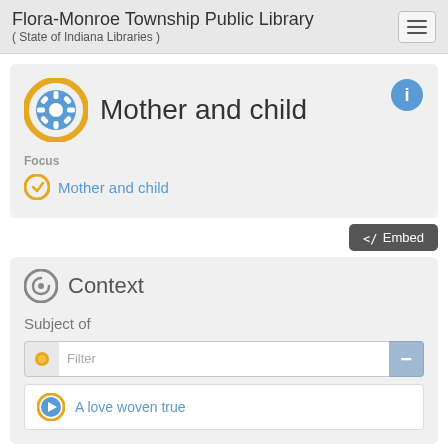Flora-Monroe Township Public Library ( State of Indiana Libraries )
Mother and child
Focus
Mother and child
Embed
Context
Subject of
Filter
A love woven true